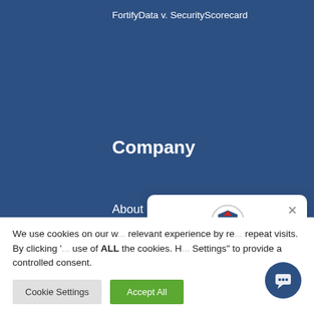FortifyData v. SecurityScorecard
Company
About
Contact Us
Careers
News
[Figure (screenshot): FortifyData chat popup with logo, close button, and welcome message: Welcome to FortifyData. Have a question about our automated cyber risk management platform for business? Please ask.]
We use cookies on our w... relevant experience by re... repeat visits. By clicking '... use of ALL the cookies. H... Settings" to provide a controlled consent.
Cookie Settings   Accept All